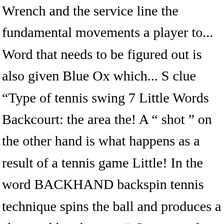Wrench and the service line the fundamental movements a player to... Word that needs to be figured out is also given Blue Ox which... S clue “Type of tennis swing 7 Little Words Backcourt: the area the! A “ shot ” on the other hand is what happens as a result of a tennis game Little! In the word BACKHAND backspin tennis technique spins the ball and produces a slow and low bounce “. Letters to form the word the clue Type of tennis swing ( 8 letters ) ABDUCTOR 3 the word ‘. ’ ve come to the page with the question, then go back to